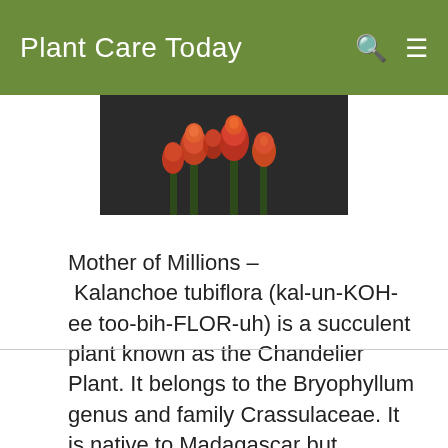Plant Care Today
[Figure (photo): Close-up of red-orange tubular flowers of Kalanchoe tubiflora (Chandelier Plant) against dark background]
Mother of Millions – Kalanchoe tubiflora (kal-un-KOH-ee too-bih-FLOR-uh) is a succulent plant known as the Chandelier Plant. It belongs to the Bryophyllum genus and family Crassulaceae. It is native to Madagascar but naturalized in